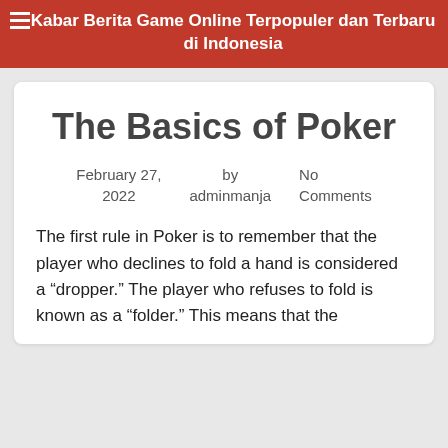Kabar Berita Game Online Terpopuler dan Terbaru di Indonesia
The Basics of Poker
February 27, 2022    by adminmanja    No Comments
The first rule in Poker is to remember that the player who declines to fold a hand is considered a “dropper.” The player who refuses to fold is known as a “folder.” This means that the